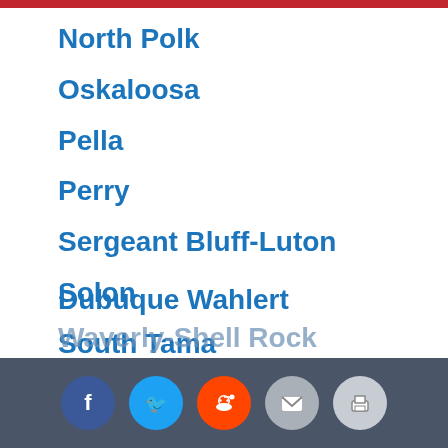North Polk
Oskaloosa
Pella
Perry
Sergeant Bluff-Luton
Solon
South Tama
Spencer
Spirit Lake
Storm Lake
Vinton-Shellsburg
Dubuque Wahlert
Waverly-Shell Rock